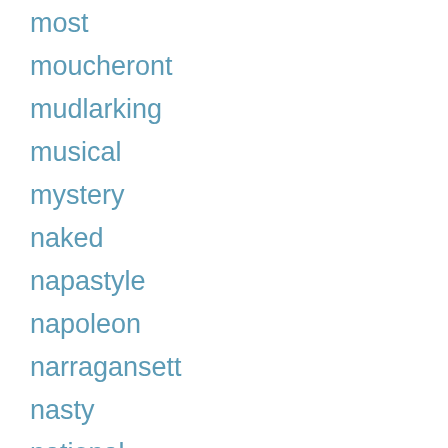most
moucheront
mudlarking
musical
mystery
naked
napastyle
napoleon
narragansett
nasty
national
nautical
navajo
neat
need
neighbor
neil